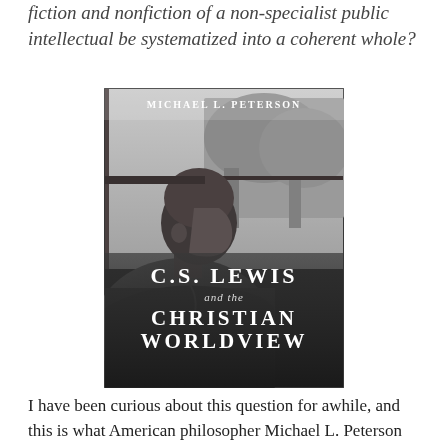fiction and nonfiction of a non-specialist public intellectual be systematized into a coherent whole?
[Figure (photo): Book cover of 'C.S. Lewis and the Christian Worldview' by Michael L. Peterson, featuring a black-and-white photograph of C.S. Lewis looking out a window in profile, with the title text overlaid on the lower portion of the image.]
I have been curious about this question for awhile, and this is what American philosopher Michael L. Peterson attempts to do in his recent book C.S. Lewis and the